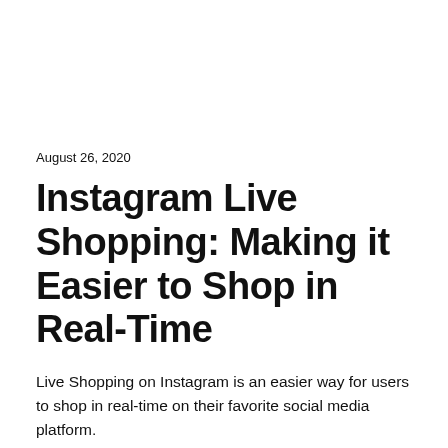August 26, 2020
Instagram Live Shopping: Making it Easier to Shop in Real-Time
Live Shopping on Instagram is an easier way for users to shop in real-time on their favorite social media platform.